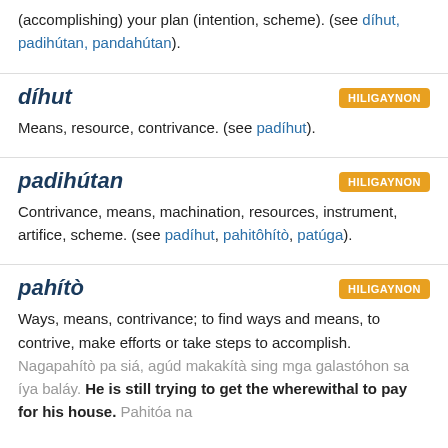(accomplishing) your plan (intention, scheme). (see díhut, padihútan, pandahútan).
díhut
HILIGAYNON
Means, resource, contrivance. (see padíhut).
padihútan
HILIGAYNON
Contrivance, means, machination, resources, instrument, artifice, scheme. (see padíhut, pahitôhítò, patúga).
pahítò
HILIGAYNON
Ways, means, contrivance; to find ways and means, to contrive, make efforts or take steps to accomplish. Nagapahítò pa siá, agúd makakítà sing mga galastóhon sa íya baláy. He is still trying to get the wherewithal to pay for his house. Pahitóa na